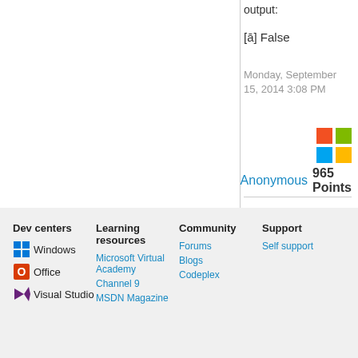output:
[ā] False
Monday, September 15, 2014 3:08 PM
Anonymous  965 Points
Dev centers
Learning resources
Community
Support
Windows
Office
Visual Studio
Microsoft Virtual Academy
Channel 9
MSDN Magazine
Forums
Blogs
Codeplex
Self support